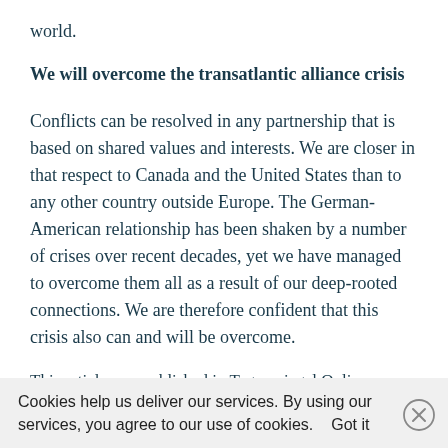world.
We will overcome the transatlantic alliance crisis
Conflicts can be resolved in any partnership that is based on shared values and interests. We are closer in that respect to Canada and the United States than to any other country outside Europe. The German-American relationship has been shaken by a number of crises over recent decades, yet we have managed to overcome them all as a result of our deep-rooted connections. We are therefore confident that this crisis also can and will be overcome.
This article was published in Tagesspiegel Online on [text obscured by cookie bar]
Cookies help us deliver our services. By using our services, you agree to our use of cookies.   Got it